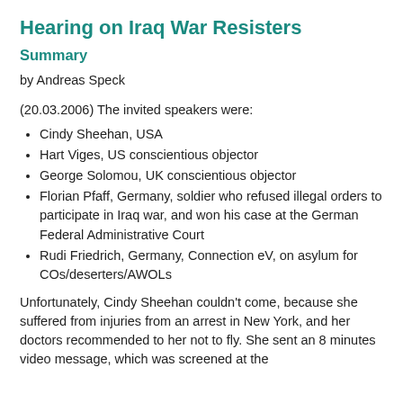Hearing on Iraq War Resisters
Summary
by Andreas Speck
(20.03.2006) The invited speakers were:
Cindy Sheehan, USA
Hart Viges, US conscientious objector
George Solomou, UK conscientious objector
Florian Pfaff, Germany, soldier who refused illegal orders to participate in Iraq war, and won his case at the German Federal Administrative Court
Rudi Friedrich, Germany, Connection eV, on asylum for COs/deserters/AWOLs
Unfortunately, Cindy Sheehan couldn't come, because she suffered from injuries from an arrest in New York, and her doctors recommended to her not to fly. She sent an 8 minutes video message, which was screened at the